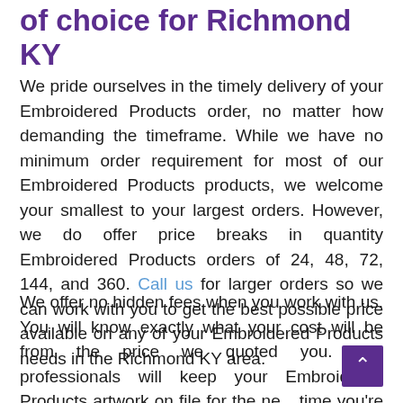of choice for Richmond KY
We pride ourselves in the timely delivery of your Embroidered Products order, no matter how demanding the timeframe. While we have no minimum order requirement for most of our Embroidered Products products, we welcome your smallest to your largest orders. However, we do offer price breaks in quantity Embroidered Products orders of 24, 48, 72, 144, and 360. Call us for larger orders so we can work with you to get the best possible price available on any of your Embroidered Products needs in the Richmond KY area.
We offer no hidden fees when you work with us. You will know exactly what your cost will be from the price we quoted you. Our professionals will keep your Embroidered Products artwork on file for the next time you're ready to print your Embroidered Products orders, along with...